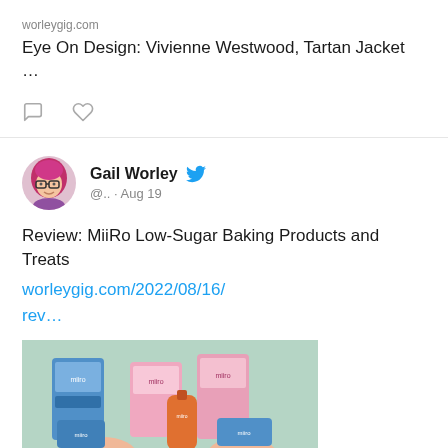worleygig.com
Eye On Design: Vivienne Westwood, Tartan Jacket …
Gail Worley @.. · Aug 19
Review: MiiRo Low-Sugar Baking Products and Treats worleygig.com/2022/08/16/rev…
[Figure (photo): Photo of MiiRo low-sugar baking products displayed in a flat lay with hands holding products against a green background]
worleygig.com